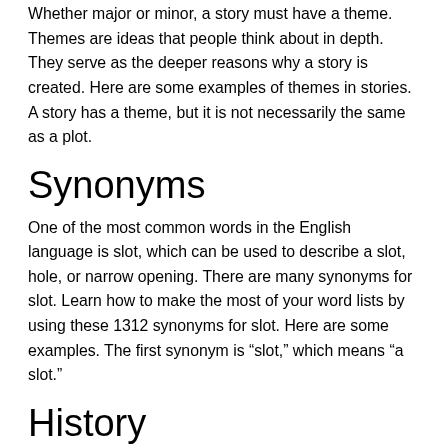Whether major or minor, a story must have a theme. Themes are ideas that people think about in depth. They serve as the deeper reasons why a story is created. Here are some examples of themes in stories. A story has a theme, but it is not necessarily the same as a plot.
Synonyms
One of the most common words in the English language is slot, which can be used to describe a slot, hole, or narrow opening. There are many synonyms for slot. Learn how to make the most of your word lists by using these 1312 synonyms for slot. Here are some examples. The first synonym is “slot,” which means “a slot.”
History
While the history of the slot machine is not as old as the gambling industry itself, it has captured the interest of millions around the world. The invention of the first slot